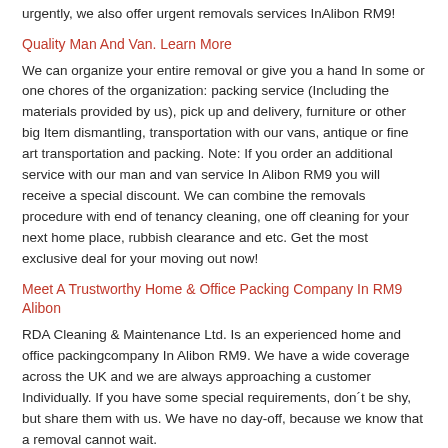urgently, we also offer urgent removals services InAlibon RM9!
Quality Man And Van. Learn More
We can organize your entire removal or give you a hand In some or one chores of the organization: packing service (Including the materials provided by us), pick up and delivery, furniture or other big Item dismantling, transportation with our vans, antique or fine art transportation and packing. Note: If you order an additional service with our man and van service In Alibon RM9 you will receive a special discount. We can combine the removals procedure with end of tenancy cleaning, one off cleaning for your next home place, rubbish clearance and etc. Get the most exclusive deal for your moving out now!
Meet A Trustworthy Home & Office Packing Company In RM9 Alibon
RDA Cleaning & Maintenance Ltd. Is an experienced home and office packingcompany In Alibon RM9. We have a wide coverage across the UK and we are always approaching a customer Individually. If you have some special requirements, don´t be shy, but share them with us. We have no day-off, because we know that a removal cannot wait.